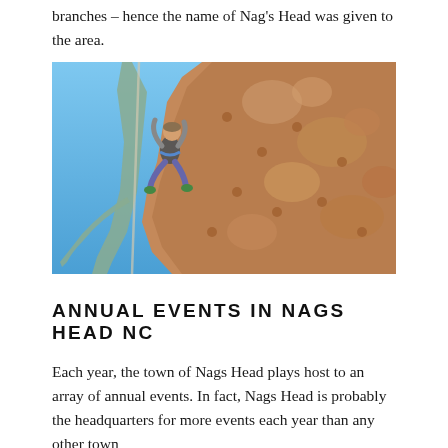branches – hence the name of Nag's Head was given to the area.
[Figure (photo): Person rock climbing on a tall artificial rock wall with tree-branch-like structures, blue sky background.]
ANNUAL EVENTS IN NAGS HEAD NC
Each year, the town of Nags Head plays host to an array of annual events. In fact, Nags Head is probably the headquarters for more events each year than any other town